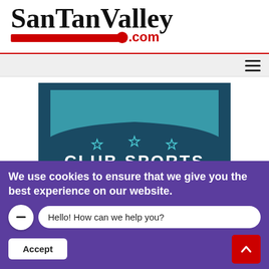SanTanValley.com
[Figure (logo): Club Sports Arizona shield logo with soccer ball and three stars]
We use cookies to ensure that we give you the best experience on our website.
Hello! How can we help you?
Accept